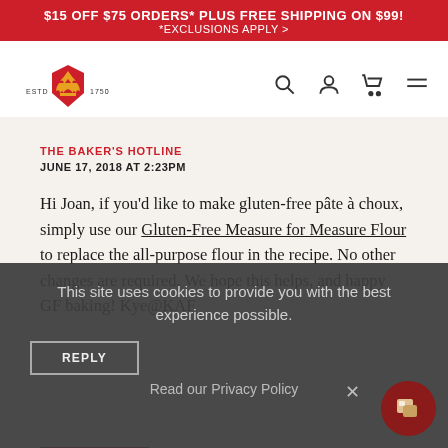$15 OFF $75 ORDERS* PLUS FREE SHIPPING ON $99! *EXCLUSIONS APPLY >
[Figure (logo): King Arthur Flour logo with wheat crown, ESTD 1750]
THE BAKER'S HOTLINE
JUNE 17, 2018 AT 2:23PM
Hi Joan, if you'd like to make gluten-free pâte à choux, simply use our Gluten-Free Measure for Measure Flour to replace the all-purpose flour in the recipe. No other changes are required. We hope this helps, and happy GF baking! Kye@KAF
REPLY
This site uses cookies to provide you with the best experience possible.
REPLY
Read our Privacy Policy
×